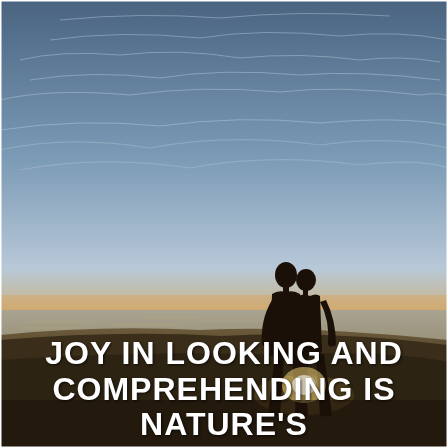[Figure (photo): A romantic couple silhouetted against a dramatic sunset on a beach. The sun is setting behind them on the horizon, casting a golden glow through their legs. The sky shows wispy clouds in blue and orange hues. The couple appears to be about to kiss or embracing, standing on sandy beach. The overall color palette transitions from blue-grey sky to warm golden orange near the horizon.]
JOY IN LOOKING AND COMPREHENDING IS NATURE'S